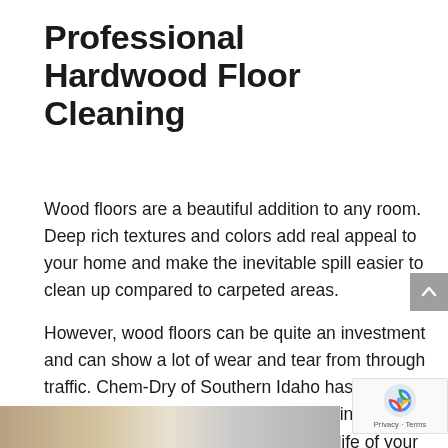Professional Hardwood Floor Cleaning
Wood floors are a beautiful addition to any room. Deep rich textures and colors add real appeal to your home and make the inevitable spill easier to clean up compared to carpeted areas.
However, wood floors can be quite an investment and can show a lot of wear and tear from through traffic. Chem-Dry of Southern Idaho has worked to provide a specialized wood floor cleaning service in Hailey & Twin Falls to revitalize the life of your wood flooring and help it remain durable and long lasting.
[Figure (photo): Bottom strip showing a hardwood floor scene, partially visible at page bottom]